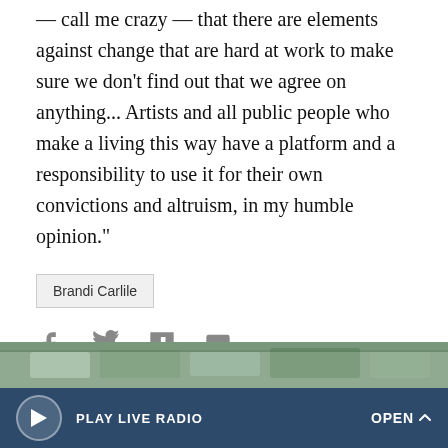— call me crazy — that there are elements against change that are hard at work to make sure we don't find out that we agree on anything... Artists and all public people who make a living this way have a platform and a responsibility to use it for their own convictions and altruism, in my humble opinion."
Brandi Carlile
[Figure (infographic): Social share icons: Facebook, Twitter, Flipboard, Email]
More Stories From NPR
[Figure (photo): Story image thumbnail strip at bottom]
PLAY LIVE RADIO   OPEN ^